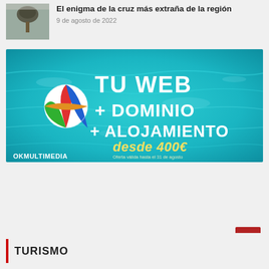[Figure (photo): Small thumbnail of a tree or nest against grey sky]
El enigma de la cruz más extraña de la región
9 de agosto de 2022
[Figure (illustration): Advertisement banner: TU WEB + DOMINIO + ALOJAMIENTO desde 400€ – Oferta válida hasta el 31 de agosto – OKMULTIMEDIA, teal water/pool background with beach ball]
TURISMO